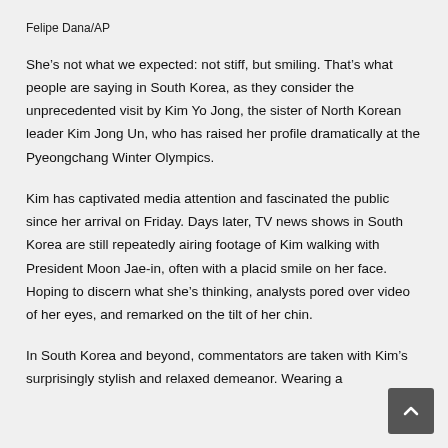Felipe Dana/AP
She’s not what we expected: not stiff, but smiling. That’s what people are saying in South Korea, as they consider the unprecedented visit by Kim Yo Jong, the sister of North Korean leader Kim Jong Un, who has raised her profile dramatically at the Pyeongchang Winter Olympics.
Kim has captivated media attention and fascinated the public since her arrival on Friday. Days later, TV news shows in South Korea are still repeatedly airing footage of Kim walking with President Moon Jae-in, often with a placid smile on her face. Hoping to discern what she’s thinking, analysts pored over video of her eyes, and remarked on the tilt of her chin.
In South Korea and beyond, commentators are taken with Kim’s surprisingly stylish and relaxed demeanor. Wearing a bla...